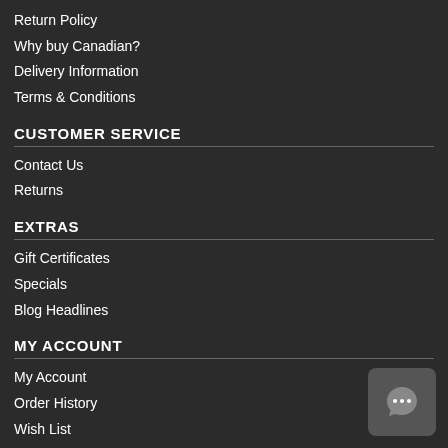Return Policy
Why buy Canadian?
Delivery Information
Terms & Conditions
CUSTOMER SERVICE
Contact Us
Returns
EXTRAS
Gift Certificates
Specials
Blog Headlines
MY ACCOUNT
My Account
Order History
Wish List
Newsletter
Membership